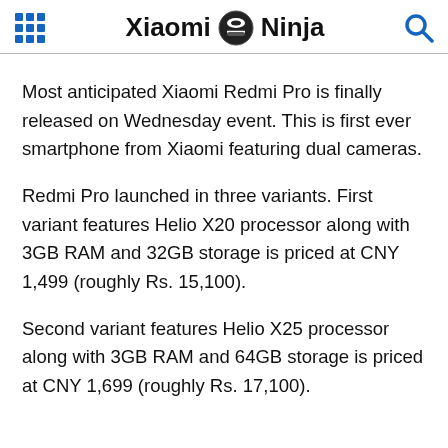Xiaomi Ninja
Most anticipated Xiaomi Redmi Pro is finally released on Wednesday event. This is first ever smartphone from Xiaomi featuring dual cameras.
Redmi Pro launched in three variants. First variant features Helio X20 processor along with 3GB RAM and 32GB storage is priced at CNY 1,499 (roughly Rs. 15,100).
Second variant features Helio X25 processor along with 3GB RAM and 64GB storage is priced at CNY 1,699 (roughly Rs. 17,100).